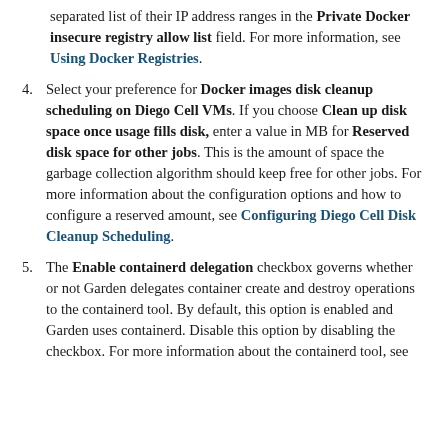separated list of their IP address ranges in the Private Docker insecure registry allow list field. For more information, see Using Docker Registries.
4. Select your preference for Docker images disk cleanup scheduling on Diego Cell VMs. If you choose Clean up disk space once usage fills disk, enter a value in MB for Reserved disk space for other jobs. This is the amount of space the garbage collection algorithm should keep free for other jobs. For more information about the configuration options and how to configure a reserved amount, see Configuring Diego Cell Disk Cleanup Scheduling.
5. The Enable containerd delegation checkbox governs whether or not Garden delegates container create and destroy operations to the containerd tool. By default, this option is enabled and Garden uses containerd. Disable this option by disabling the checkbox. For more information about the containerd tool, see